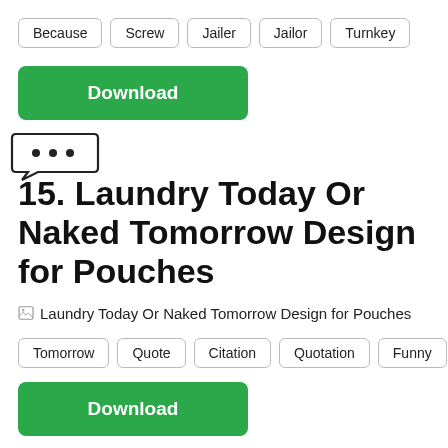Because | Screw | Jailer | Jailor | Turnkey
Download
[Figure (illustration): Speech bubble with three dots (ellipsis) indicating more options or loading]
15. Laundry Today Or Naked Tomorrow Design for Pouches
[Figure (photo): Laundry Today Or Naked Tomorrow Design for Pouches]
Tomorrow | Quote | Citation | Quotation | Funny
Download